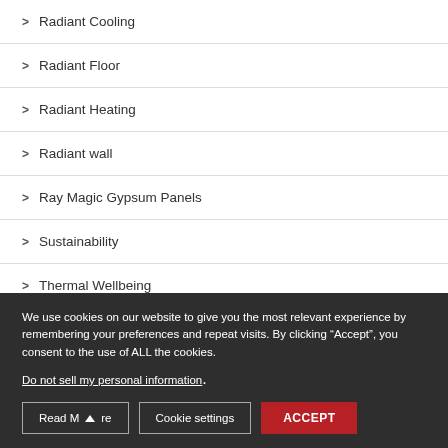Radiant Cooling
Radiant Floor
Radiant Heating
Radiant wall
Ray Magic Gypsum Panels
Sustainability
Thermal Wellbeing
We use cookies on our website to give you the most relevant experience by remembering your preferences and repeat visits. By clicking “Accept”, you consent to the use of ALL the cookies.
Do not sell my personal information.
Read More | Cookie settings | ACCEPT